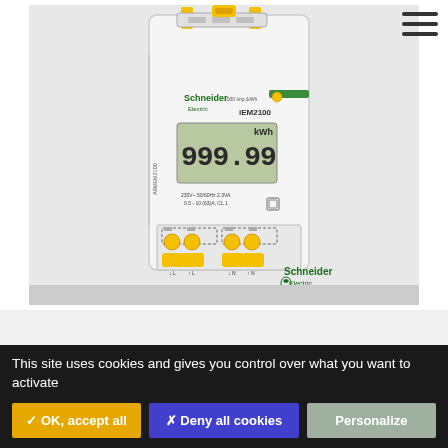[Figure (photo): Schneider Electric iEM2100 single-phase energy meter mounted on DIN rail, showing LCD display reading 999.99 kWh, yellow terminal covers at bottom, green Schneider Electric logo branding on device and bottom right corner. Device label shows 230V~ 50/60Hz 2.3VA, 0.5-10 (63)A, CL 1.]
This site uses cookies and gives you control over what you want to activate
✓ OK, accept all
✗ Deny all cookies
Personalize